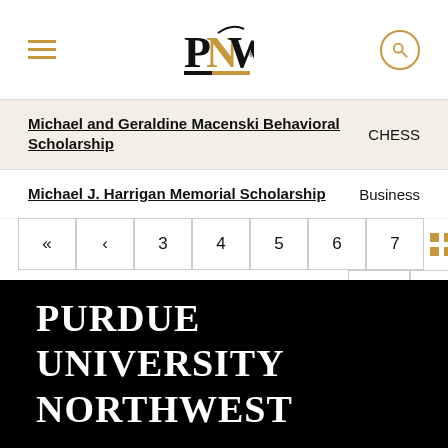PNW - Purdue University Northwest
Michael and Geraldine Macenski Behavioral Scholarship — CHESS
Michael J. Harrigan Memorial Scholarship — Business
[Figure (other): Pagination controls with double-left, left arrows, page numbers 3 4 5 6 7, dotted ellipsis, right and double-right arrows]
PURDUE UNIVERSITY NORTHWEST